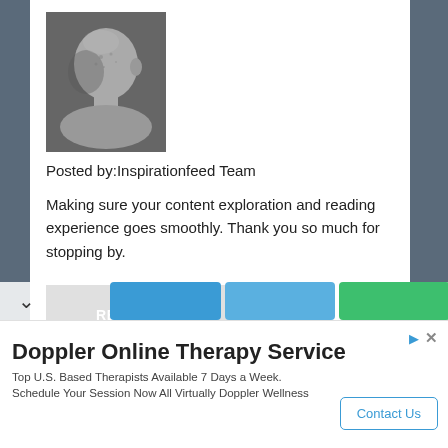[Figure (photo): Black and white portrait photo of a bald man with skin condition, looking slightly downward]
Posted by:Inspirationfeed Team
Making sure your content exploration and reading experience goes smoothly. Thank you so much for stopping by.
READ MORE
Doppler Online Therapy Service
Top U.S. Based Therapists Available 7 Days a Week. Schedule Your Session Now All Virtually Doppler Wellness
Contact Us